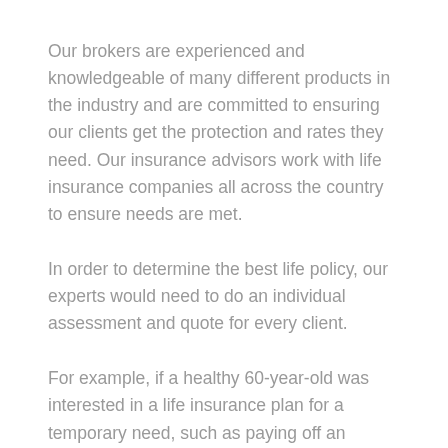Our brokers are experienced and knowledgeable of many different products in the industry and are committed to ensuring our clients get the protection and rates they need. Our insurance advisors work with life insurance companies all across the country to ensure needs are met.
In order to determine the best life policy, our experts would need to do an individual assessment and quote for every client.
For example, if a healthy 60-year-old was interested in a life insurance plan for a temporary need, such as paying off an outstanding mortgage balance, term life insurance would be a more affordable option.